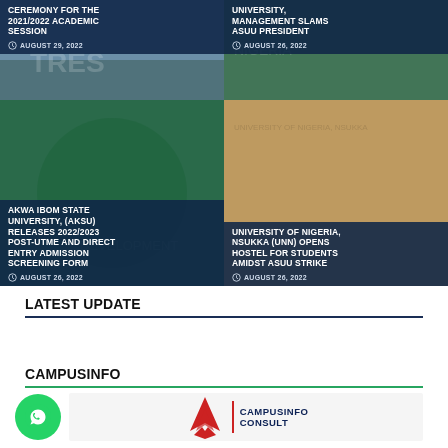[Figure (photo): News card top-left: Ceremony for the 2021/2022 Academic Session, dated August 29, 2022]
[Figure (photo): News card top-right: University Management Slams ASUU President, dated August 26, 2022]
[Figure (photo): News card bottom-left: Akwa Ibom State University (AKSU) Releases 2022/2023 Post-UTME and Direct Entry Admission Screening Form, dated August 26, 2022]
[Figure (photo): News card bottom-right: University of Nigeria, Nsukka (UNN) Opens Hostel for Students Amidst ASUU Strike, dated August 26, 2022]
LATEST UPDATE
CAMPUSINFO
[Figure (logo): WhatsApp button (green circle with phone icon) and CampusInfo Consult logo (red bird/flame graphic with navy text)]